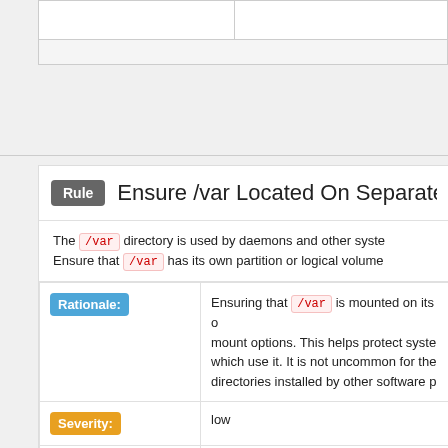|  |  |
|  |  |
Rule  Ensure /var Located On Separate P...
The /var directory is used by daemons and other syste... Ensure that /var has its own partition or logical volume...
| Rationale: | Ensuring that /var is mounted on its o... mount options. This helps protect syste... which use it. It is not uncommon for the ... directories installed by other software p... |
| Severity: | low |
| Rule ID: | xccdf_org.ssgproject.content_rule_parti... |
| Identifiers and References | References: BP28(R12), 12, 15, 8, APO... SR 3.8, SR 4.1, SR 4.3, SR 5.1, SR 5.2... A 14.1.3, CM-6(a), SC-5(2), PR.PT-4... |